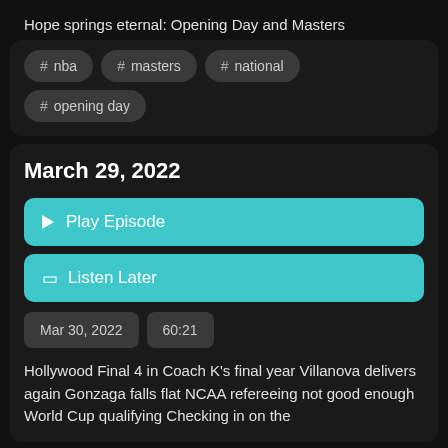Hope springs eternal: Opening Day and Masters
# nba
# masters
# national
# opening day
March 29, 2022
Play Episode
Listen Later
Mar 30, 2022
60:21
Hollywood Final 4 in Coach K's final year Villanova delivers again Gonzaga falls flat NCAA refereeing not good enough World Cup qualifying Checking in on the